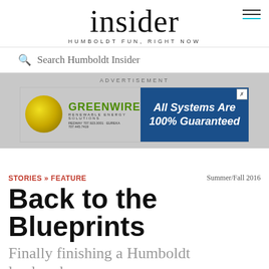insider
HUMBOLDT FUN, RIGHT NOW
Search Humboldt Insider
[Figure (infographic): Greenwired Renewable Energy Solutions advertisement banner. Green logo text, gold circle graphic, blue right panel reading 'All Systems Are 100% Guaranteed']
ADVERTISEMENT
STORIES » FEATURE
Summer/Fall 2016
Back to the Blueprints
Finally finishing a Humboldt landmark